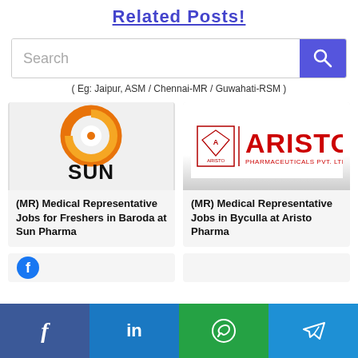Related Posts!
[Figure (screenshot): Search bar with purple search button]
( Eg: Jaipur, ASM / Chennai-MR / Guwahati-RSM )
[Figure (logo): Sun Pharma logo - orange swirl with SUN text]
(MR) Medical Representative Jobs for Freshers in Baroda at Sun Pharma
[Figure (logo): Aristo Pharmaceuticals Pvt. Ltd. logo in red]
(MR) Medical Representative Jobs in Byculla at Aristo Pharma
[Figure (screenshot): Social share bar with Facebook, LinkedIn, WhatsApp, Telegram icons]